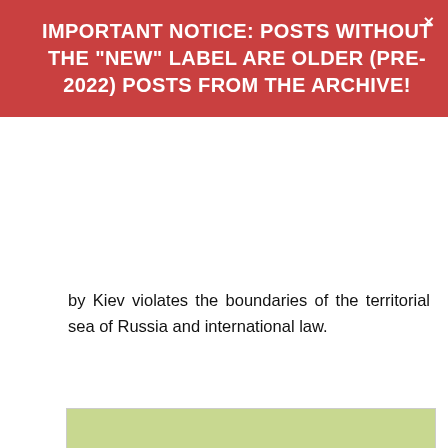IMPORTANT NOTICE: POSTS WITHOUT THE "NEW" LABEL ARE OLDER (PRE-2022) POSTS FROM THE ARCHIVE!
by Kiev violates the boundaries of the territorial sea of Russia and international law.
[Figure (map): Map of the Black Sea region showing a missile path (red lines) and debris zone (yellow rectangle) near Crimea/Kerch strait area, with a black circle highlighting a specific location. Legend shows: Red: Missile Path, Yellow: Debris Zone.]